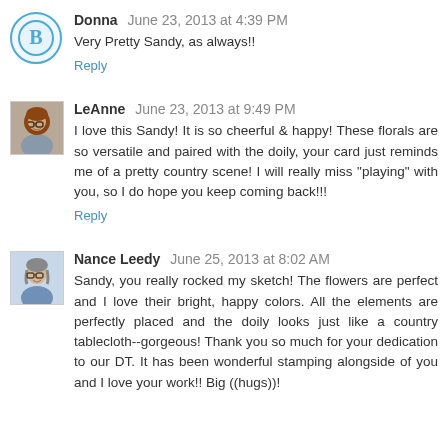Donna  June 23, 2013 at 4:39 PM
Very Pretty Sandy, as always!!
Reply
LeAnne  June 23, 2013 at 9:49 PM
I love this Sandy! It is so cheerful & happy! These florals are so versatile and paired with the doily, your card just reminds me of a pretty country scene! I will really miss "playing" with you, so I do hope you keep coming back!!!
Reply
Nance Leedy  June 25, 2013 at 8:02 AM
Sandy, you really rocked my sketch! The flowers are perfect and I love their bright, happy colors. All the elements are perfectly placed and the doily looks just like a country tablecloth--gorgeous! Thank you so much for your dedication to our DT. It has been wonderful stamping alongside of you and I love your work!! Big ((hugs))!